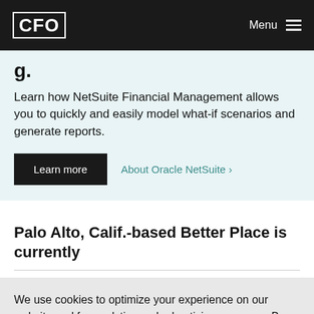CFO | Menu
Learn how NetSuite Financial Management allows you to quickly and easily model what-if scenarios and generate reports.
Learn more
About Oracle NetSuite >
Palo Alto, Calif.-based Better Place is currently
We use cookies to optimize your experience on our website and for analytics and advertising purposes. By continuing to use our site, you agree to our cookie policy. Learn more
Got it!